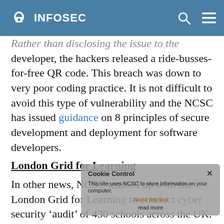INFOSEC
Rather than disclosing the issue to the developer, the hackers released a ride-busses-for-free QR code. This breach was down to very poor coding practice. It is not difficult to avoid this type of vulnerability and the NCSC has issued guidance on 8 principles of secure development and deployment for software developers.
London Grid for Learning
In other news, NCSC teamed up with the London Grid for Learning to conduct cyber security ‘audit’ of 430 schools across the UK. Ninety seven percent of schools said loss of network-